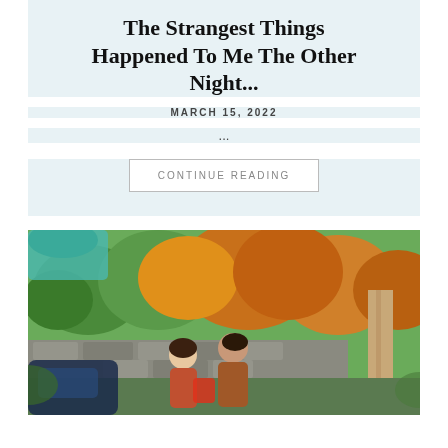The Strangest Things Happened To Me The Other Night...
MARCH 15, 2022
...
CONTINUE READING
[Figure (photo): Two women conversing outdoors near a stone wall, with colorful trees and a structure with a red/orange roof in the background.]